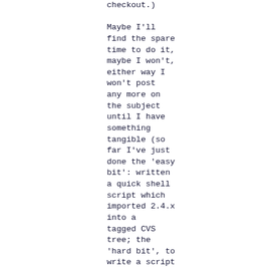checkout.)

Maybe I'll find the spare time to do it, maybe I won't, either way I won't post any more on the subject until I have something tangible (so far I've just done the 'easy bit': written a quick shell script which imported 2.4.x into a tagged CVS tree; the 'hard bit', to write a script to analyse each kernel rev and determine which files are used by